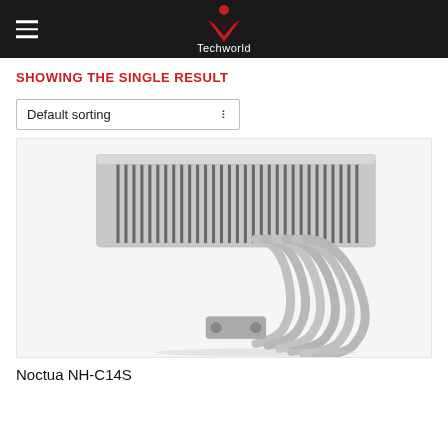Techworld
SHOWING THE SINGLE RESULT
Default sorting
[Figure (photo): Noctua NH-C14S CPU cooler with large heatsink fins and multiple heat pipes, shown from a low angle against a white background]
Noctua NH-C14S